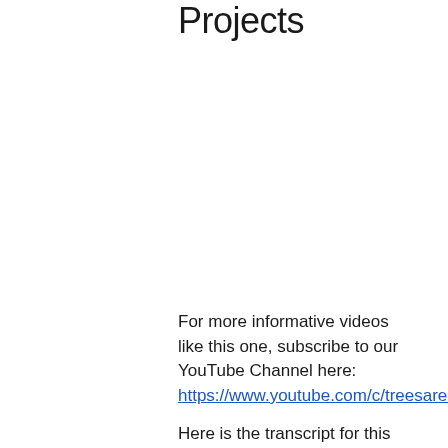Projects
For more informative videos like this one, subscribe to our YouTube Channel here:
https://www.youtube.com/c/treesareawesome
Here is the transcript for this video blog